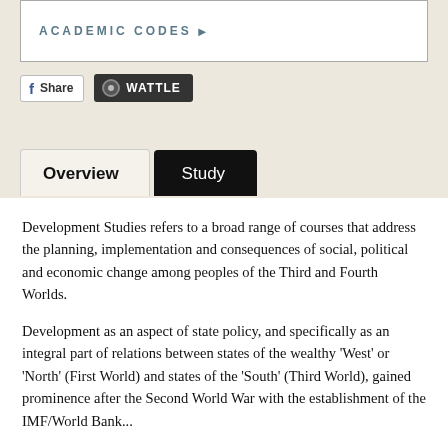ACADEMIC CODES ▶
Share | WATTLE
Overview | Study
Development Studies refers to a broad range of courses that address the planning, implementation and consequences of social, political and economic change among peoples of the Third and Fourth Worlds.
Development as an aspect of state policy, and specifically as an integral part of relations between states of the wealthy 'West' or 'North' (First World) and states of the 'South' (Third World), gained prominence after the Second World War with the establishment of the IMF/World Bank...